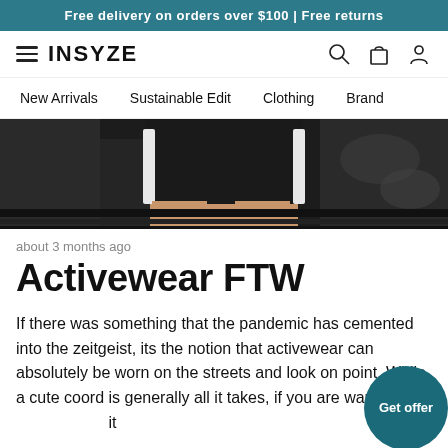Free delivery on orders over $100 | Free returns
[Figure (logo): INSYZE logo with hamburger menu and icons for search, cart, and account]
New Arrivals   Sustainable Edit   Clothing   Brand
[Figure (photo): Close-up photo of a person wearing black athletic shorts with white side panels, crouching near a dark surface]
about 3 months ago
Activewear FTW
If there was something that the pandemic has cemented into the zeitgeist, its the notion that activewear can absolutely be worn on the streets and look on point. While a cute coord is generally all it takes, if you are wanting it